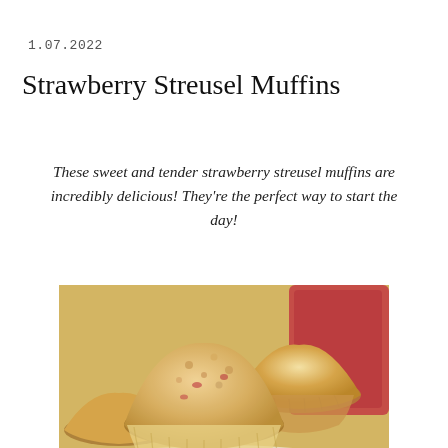1.07.2022
Strawberry Streusel Muffins
These sweet and tender strawberry streusel muffins are incredibly delicious! They're the perfect way to start the day!
[Figure (photo): Close-up photograph of golden strawberry streusel muffins in paper liners, piled together with a red container visible in the background]